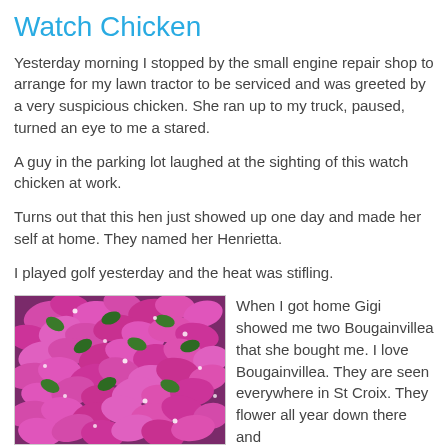Watch Chicken
Yesterday morning I stopped by the small engine repair shop to arrange for my lawn tractor to be serviced and was greeted by a very suspicious chicken. She ran up to my truck, paused, turned an eye to me a stared.
A guy in the parking lot laughed at the sighting of this watch chicken at work.
Turns out that this hen just showed up one day and made her self at home. They named her Henrietta.
I played golf yesterday and the heat was stifling.
[Figure (photo): Close-up photo of bright magenta/pink Bougainvillea flowers with green leaves]
When I got home Gigi showed me two Bougainvillea that she bought me. I love Bougainvillea. They are seen everywhere in St Croix. They flower all year down there and